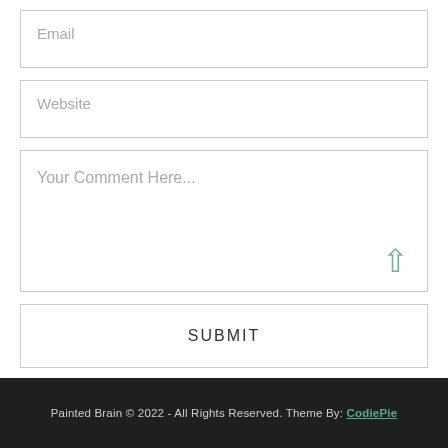Email
Website
Your Comment Here...
SUBMIT
Painted Brain © 2022 - All Rights Reserved. Theme By: CodiePie